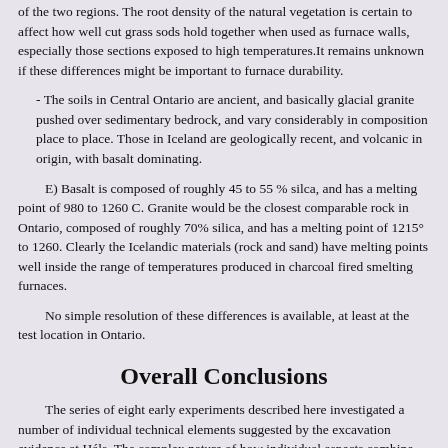of the two regions. The root density of the natural vegetation is certain to affect how well cut grass sods hold together when used as furnace walls, especially those sections exposed to high temperatures.It remains unknown if these differences might be important to furnace durability.
- The soils in Central Ontario are ancient, and basically glacial granite pushed over sedimentary bedrock, and vary considerably in composition place to place. Those in Iceland are geologically recent, and volcanic in origin, with basalt dominating.
E) Basalt is composed of roughly 45 to 55 % silca, and has a melting point of 980 to 1260 C. Granite would be the closest comparable rock in Ontario, composed of roughly 70% silica, and has a melting point of 1215° to 1260. Clearly the Icelandic materials (rock and sand) have melting points well inside the range of temperatures produced in charcoal fired smelting furnaces.
No simple resolution of these differences is available, at least at the test location in Ontario.
Overall Conclusions
The series of eight early experiments described here investigated a number of individual technical elements suggested by the excavation evidence at Háls. The complex nature of how individual aspects combine into 'successful' bloomery iron production in Viking Age Iceland, becomes obvious. Although there still remain many factors to investigate, it is certain that the rough outlines of furnace and method indicated in the archaeology can be re-created into a functional system. As should have been expected, solving one problem led to still more questions to be investigated. Certainly these early